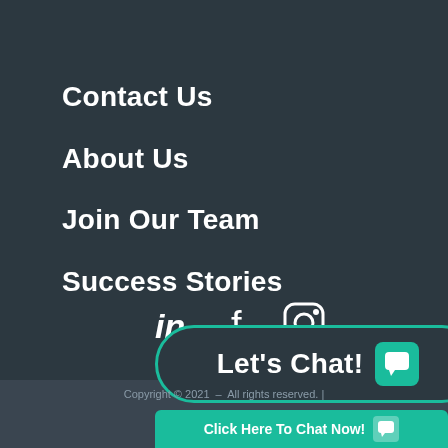Contact Us
About Us
Join Our Team
Success Stories
[Figure (infographic): Social media icons: LinkedIn, Facebook, Instagram]
[Figure (infographic): Let's Chat! button with chat icon, teal/green border on dark background]
Copyright © 2021 ... All rights reserved. |
[Figure (infographic): Click Here To Chat Now! teal button with chat icon at bottom]